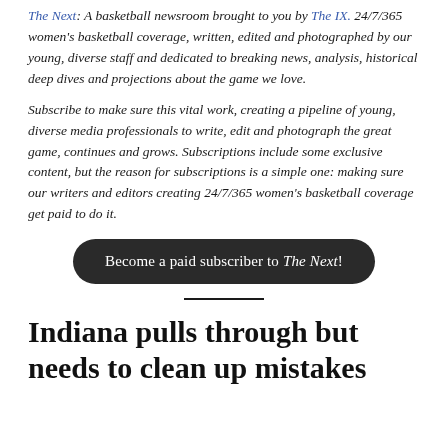The Next: A basketball newsroom brought to you by The IX. 24/7/365 women's basketball coverage, written, edited and photographed by our young, diverse staff and dedicated to breaking news, analysis, historical deep dives and projections about the game we love.
Subscribe to make sure this vital work, creating a pipeline of young, diverse media professionals to write, edit and photograph the great game, continues and grows. Subscriptions include some exclusive content, but the reason for subscriptions is a simple one: making sure our writers and editors creating 24/7/365 women's basketball coverage get paid to do it.
Become a paid subscriber to The Next!
Indiana pulls through but needs to clean up mistakes